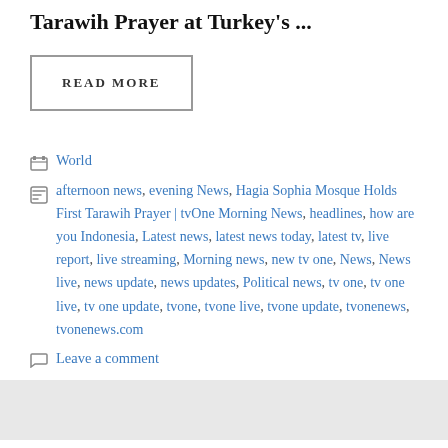Tarawih Prayer at Turkey's ...
READ MORE
Categories: World
Tags: afternoon news, evening News, Hagia Sophia Mosque Holds First Tarawih Prayer | tvOne Morning News, headlines, how are you Indonesia, Latest news, latest news today, latest tv, live report, live streaming, Morning news, new tv one, News, News live, news update, news updates, Political news, tv one, tv one live, tv one update, tvone, tvone live, tvone update, tvonenews, tvonenews.com
Leave a comment
Russia attacks the port city of